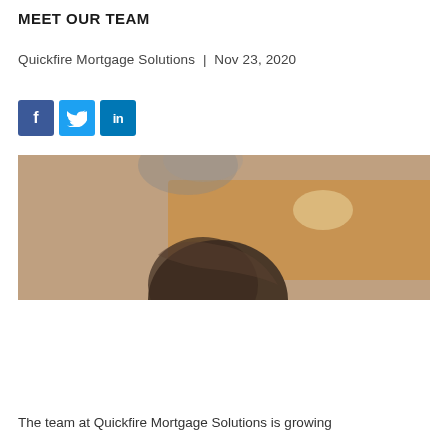MEET OUR TEAM
Quickfire Mortgage Solutions  |  Nov 23, 2020
[Figure (illustration): Social media sharing icons: Facebook (blue square with 'f'), Twitter (light blue square with bird icon), LinkedIn (blue square with 'in')]
[Figure (photo): Partially visible photo of a person with dark hair in an office or indoor setting with warm brown/beige tones in the background]
The team at Quickfire Mortgage Solutions is growing